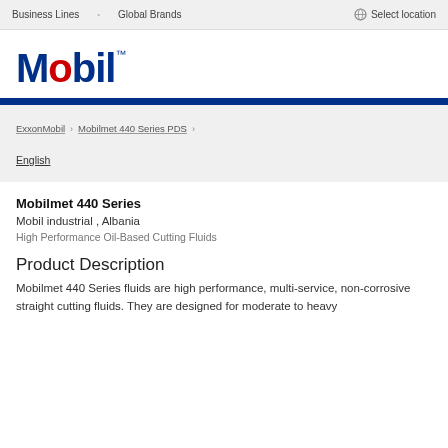Business Lines  Global Brands  Select location
[Figure (logo): Mobil logo with blue text and red O, with trademark symbol]
ExxonMobil  >   Mobilmet 440 Series PDS  >
English
Mobilmet 440 Series
Mobil industrial , Albania
High Performance Oil-Based Cutting Fluids
Product Description
Mobilmet 440 Series fluids are high performance, multi-service, non-corrosive straight cutting fluids. They are designed for moderate to heavy